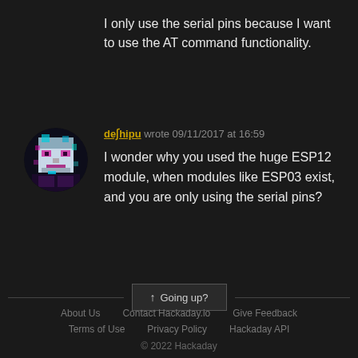I only use the serial pins because I want to use the AT command functionality.
deʃhipu wrote 09/11/2017 at 16:59
I wonder why you used the huge ESP12 module, when modules like ESP03 exist, and you are only using the serial pins?
[Figure (photo): Avatar image of user deʃhipu — pixelated face with magenta/cyan colors on dark background]
↑ Going up? | About Us | Contact Hackaday.io | Give Feedback | Terms of Use | Privacy Policy | Hackaday API | © 2022 Hackaday